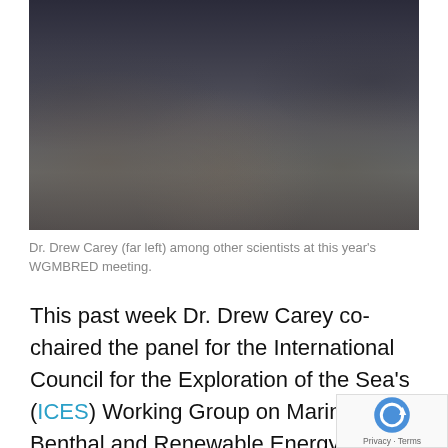[Figure (photo): Group photo of scientists including Dr. Drew Carey (far left) standing and kneeling in front of a large bronze sculpture outside a building with glass windows.]
Dr. Drew Carey (far left) among other scientists at this year's WGMBRED meeting.
This past week Dr. Drew Carey co-chaired the panel for the International Council for the Exploration of the Sea's (ICES) Working Group on Marine Benthal and Renewable Energy Developments (WGMBRED) du their annual meeting in Brussels. ICES is the world's oldest intergovernmental science organization and Dr.